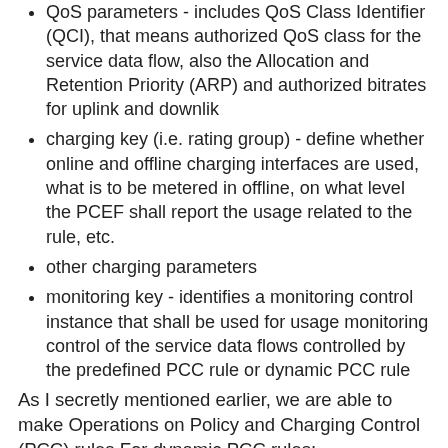QoS parameters - includes QoS Class Identifier (QCI), that means authorized QoS class for the service data flow, also the Allocation and Retention Priority (ARP) and authorized bitrates for uplink and downlik
charging key (i.e. rating group) - define whether online and offline charging interfaces are used, what is to be metered in offline, on what level the PCEF shall report the usage related to the rule, etc.
other charging parameters
monitoring key - identifies a monitoring control instance that shall be used for usage monitoring control of the service data flows controlled by the predefined PCC rule or dynamic PCC rule
As I secretly mentioned earlier, we are able to make Operations on Policy and Charging Control (PCC) rules For dynamic PCC rules:
Installation: to provision a PCC rules that has not